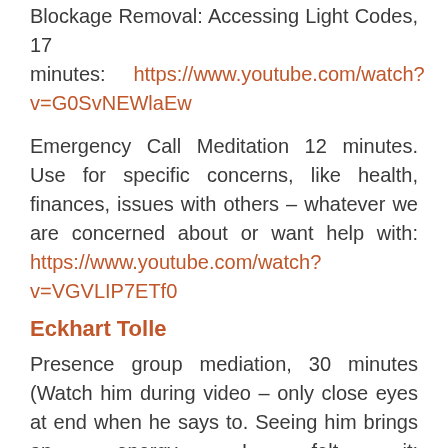Blockage Removal: Accessing Light Codes, 17 minutes: https://www.youtube.com/watch?v=G0SvNEWlaEw
Emergency Call Meditation 12 minutes. Use for specific concerns, like health, finances, issues with others – whatever we are concerned about or want help with: https://www.youtube.com/watch?v=VGVLIP7ETf0
Eckhart Tolle
Presence group mediation, 30 minutes (Watch him during video – only close eyes at end when he says to. Seeing him brings an energy I felt it: https://www.youtube.com/watch?v=...